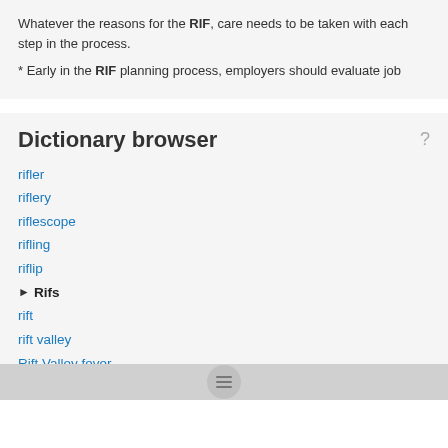Whatever the reasons for the RIF, care needs to be taken with each step in the process.
* Early in the RIF planning process, employers should evaluate job
Dictionary browser
rifler
riflery
riflescope
rifling
riflip
▶ Rifs
rift
rift valley
Rift Valley fever
rift zone
Rifter
riftless